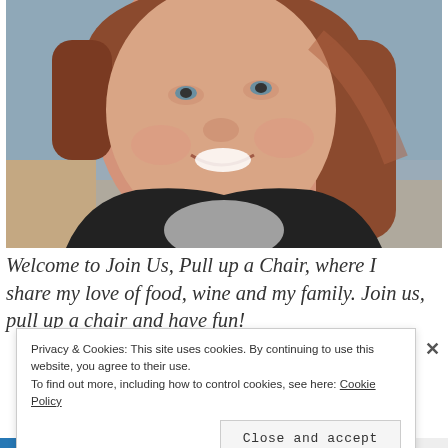[Figure (photo): A smiling woman with auburn/brown hair wearing a black jacket over a grey shirt, photographed from above at a slight angle. Background shows a tan/beige couch and light blue wall.]
Welcome to Join Us, Pull up a Chair, where I share my love of food, wine and my family. Join us, pull up a chair and have fun!
Privacy & Cookies: This site uses cookies. By continuing to use this website, you agree to their use.
To find out more, including how to control cookies, see here: Cookie Policy
Close and accept